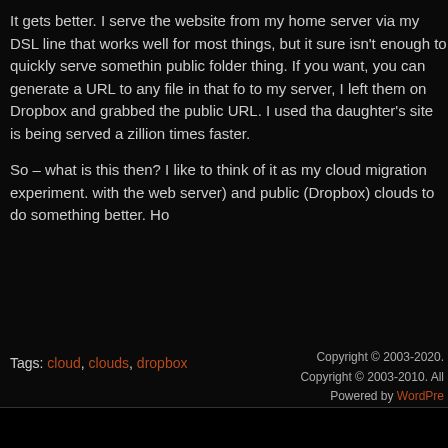It gets better. I serve the website from my home server via my DSL line that works well for most things, but it sure isn't enough to quickly serve something public folder thing. If you want, you can generate a URL to any file in that fo to my server, I left them on Dropbox and grabbed the public URL. I used tha daughter's site is being served a zillion times faster.
So – what is this then? I like to think of it as my cloud migration experiment. with the web server) and public (Dropbox) clouds to do something better. Ho
Tags: cloud, clouds, dropbox
Leave A Comment »
Copyright © 2003-2020. Copyright © 2003-2010. All Powered by WordPress